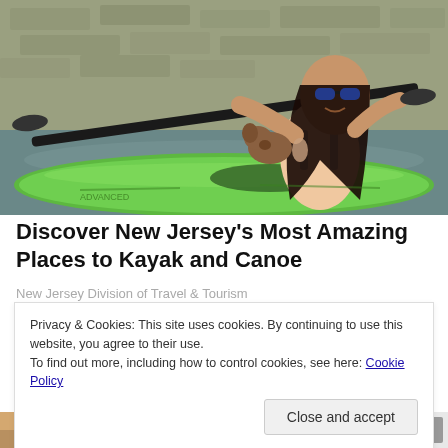[Figure (photo): Woman in sunglasses and swimsuit paddling a bright green kayak, with a dog, on a river or lake. Rocky/stone wall in background.]
Discover New Jersey's Most Amazing Places to Kayak and Canoe
New Jersey Division of Travel & Tourism
Privacy & Cookies: This site uses cookies. By continuing to use this website, you agree to their use.
To find out more, including how to control cookies, see here: Cookie Policy
[Figure (photo): Bottom strip showing partial images of people and logos, partially visible.]